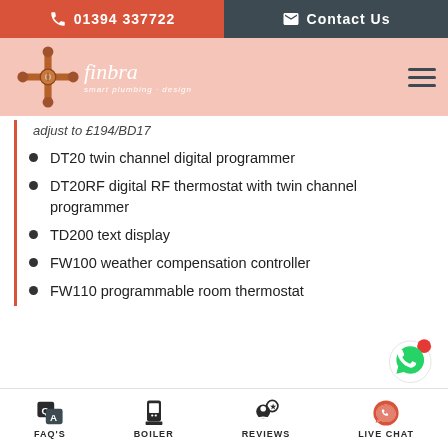01394 337722 | Contact Us
[Figure (logo): Finbra smart plumbing design logo with copper cross-shaped valve graphic]
adjust to £194/BD17
DT20 twin channel digital programmer
DT20RF digital RF thermostat with twin channel programmer
TD200 text display
FW100 weather compensation controller
FW110 programmable room thermostat
FAQ'S | BOILER | REVIEWS | LIVE CHAT